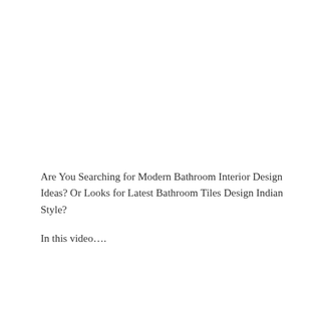Are You Searching for Modern Bathroom Interior Design Ideas? Or Looks for Latest Bathroom Tiles Design Indian Style?
In this video….